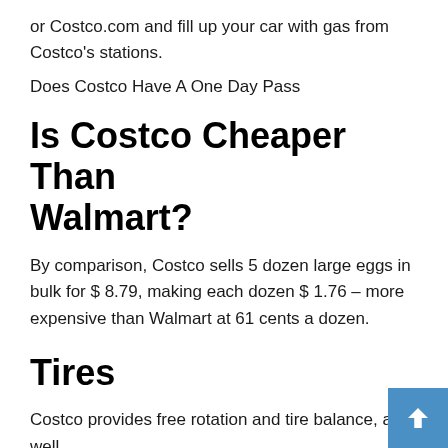or Costco.com and fill up your car with gas from Costco's stations.
[Figure (illustration): Broken image placeholder with alt text: Does Costco Have A One Day Pass]
Is Costco Cheaper Than Walmart?
By comparison, Costco sells 5 dozen large eggs in bulk for $ 8.79, making each dozen $ 1.76 – more expensive than Walmart at 61 cents a dozen.
Tires
Costco provides free rotation and tire balance, as well